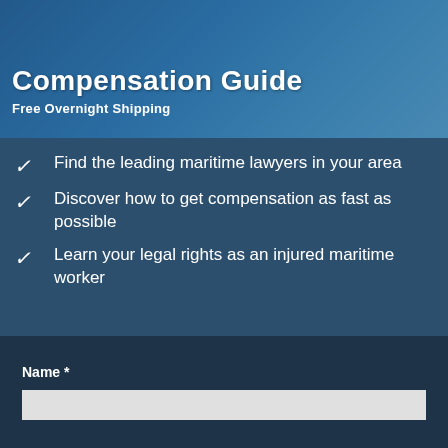Compensation Guide
Free Overnight Shipping
Find the leading maritime lawyers in your area
Discover how to get compensation as fast as possible
Learn your legal rights as an injured maritime worker
Act Fast - There is a time limit
Name *